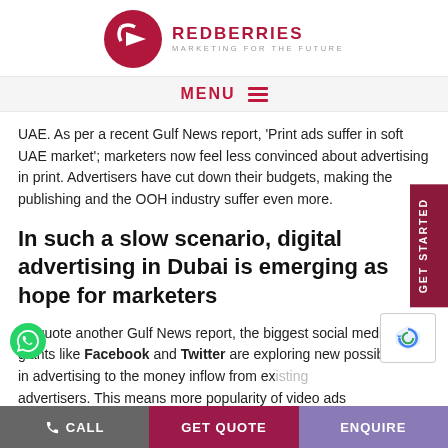[Figure (logo): Redberries logo: dark red circle with stylized arrow/quarter-circle icon, text REDBERRIES in dark red, tagline MARKETING FOR THE FUTURE in grey]
MENU ☰
UAE. As per a recent Gulf News report, 'Print ads suffer in soft UAE market'; marketers now feel less convinced about advertising in print. Advertisers have cut down their budgets, making the publishing and the OOH industry suffer even more.
In such a slow scenario, digital advertising in Dubai is emerging as hope for marketers
To quote another Gulf News report, the biggest social media giants like Facebook and Twitter are exploring new possibilities in advertising to the money inflow from existing advertisers. This means more popularity of video ads